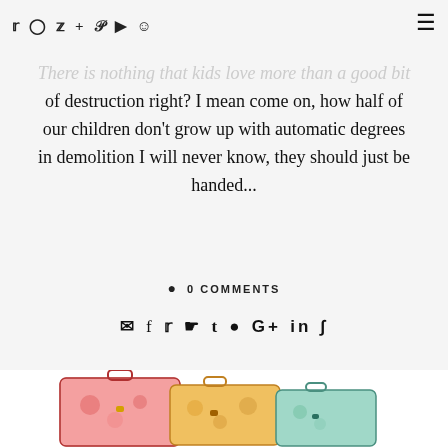Social icons: Twitter, Instagram, Facebook, Plus, Pinterest, YouTube, Snapchat | Hamburger menu
DESTRUCTION.
There is nothing that kids love more than a good bit of destruction right? I mean come on, how half of our children don't grow up with automatic degrees in demolition I will never know, they should just be handed...
💬 0 COMMENTS
✉ f 🐦 📌 t 💬 G+ in ∫
[Figure (photo): Photo showing colorful decorative suitcases/lunchboxes with floral patterns at the bottom of the page]